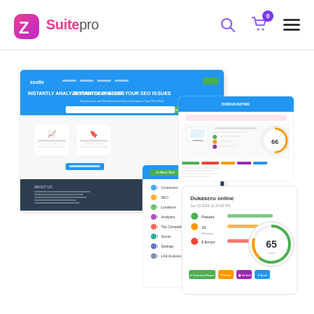[Figure (logo): ZSuitepro logo with pink/purple Z icon and text]
[Figure (screenshot): Multiple overlapping screenshots of the ZSuitepro web application showing SEO analysis tool interface, dashboard with menus, and report results pages with score indicators]